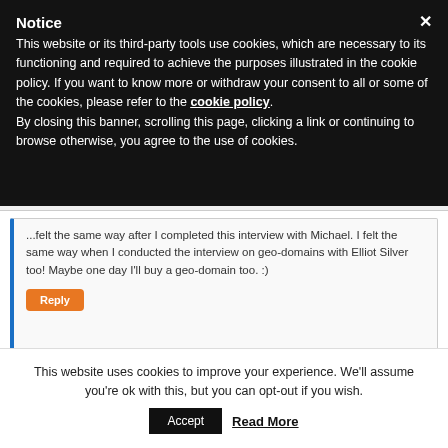Notice
This website or its third-party tools use cookies, which are necessary to its functioning and required to achieve the purposes illustrated in the cookie policy. If you want to know more or withdraw your consent to all or some of the cookies, please refer to the cookie policy. By closing this banner, scrolling this page, clicking a link or continuing to browse otherwise, you agree to the use of cookies.
...felt the same way after I completed this interview with Michael. I felt the same way when I conducted the interview on geo-domains with Elliot Silver too! Maybe one day I'll buy a geo-domain too. :)
This website uses cookies to improve your experience. We'll assume you're ok with this, but you can opt-out if you wish.